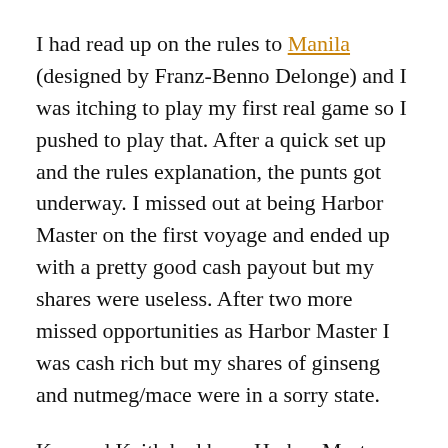I had read up on the rules to Manila (designed by Franz-Benno Delonge) and I was itching to play my first real game so I pushed to play that. After a quick set up and the rules explanation, the punts got underway. I missed out at being Harbor Master on the first voyage and ended up with a pretty good cash payout but my shares were useless. After two more missed opportunities as Harbor Master I was cash rich but my shares of ginseng and nutmeg/mace were in a sorry state.
Ken and Keith had been Harbor Master for the early part of the game and were scoring on some nice stock purchases but were slowly